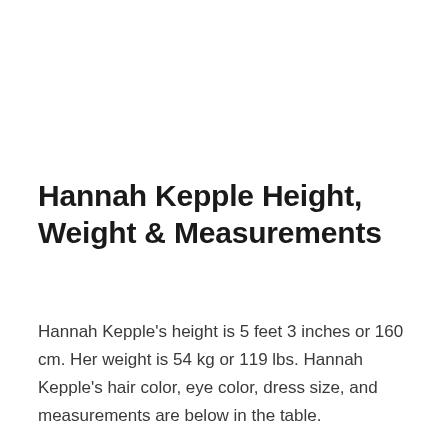Hannah Kepple Height, Weight & Measurements
Hannah Kepple's height is 5 feet 3 inches or 160 cm. Her weight is 54 kg or 119 lbs. Hannah Kepple's hair color, eye color, dress size, and measurements are below in the table.